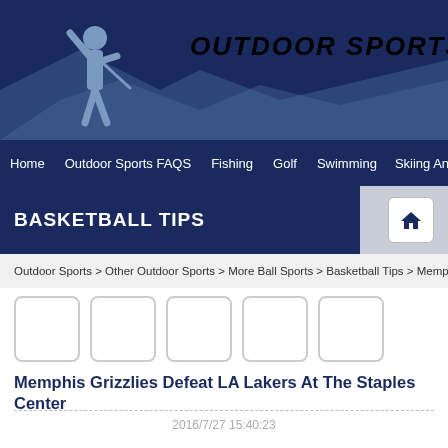OUTDOOR SPORTS
Home | Outdoor Sports FAQS | Fishing | Golf | Swimming | Skiing And
BASKETBALL TIPS
Outdoor Sports > Other Outdoor Sports > More Ball Sports > Basketball Tips > Memph
[Figure (other): Five social share icon placeholder boxes]
Memphis Grizzlies Defeat LA Lakers At The Staples Center
2016/7/27 15:40:23